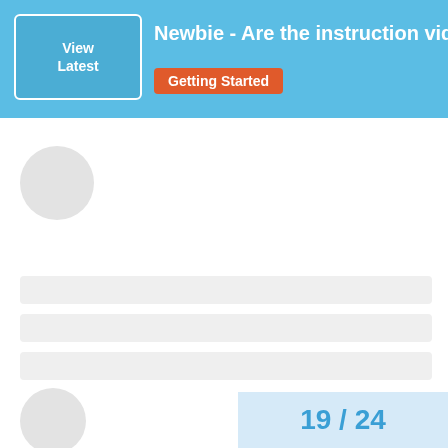Newbie - Are the instruction videos out of dat... Getting Started
[Figure (screenshot): Loading skeleton UI with circular avatar placeholders and rectangular content bar placeholders, showing a forum thread list page with pagination 19 / 24]